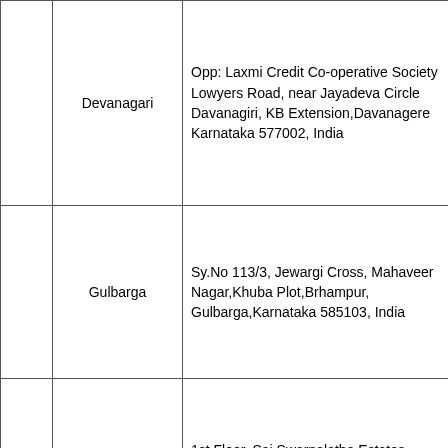|  | Devanagari | Opp: Laxmi Credit Co-operative Society
Lowyers Road, near Jayadeva Circle
Davanagiri, KB Extension,Davanagere
Karnataka 577002, India |
|  | Gulbarga | Sy.No 113/3, Jewargi Cross, Mahaveer Nagar,Khuba Plot,Brhampur,
Gulbarga,Karnataka 585103, India |
|  | Ameerpet | 1st Floor, Sai Swarnalatha Estates,
Beside Lane of DTDC,Saradhi studio,
Lane,Ameerpet,Hyderabad,
Telangana 500016 India. |